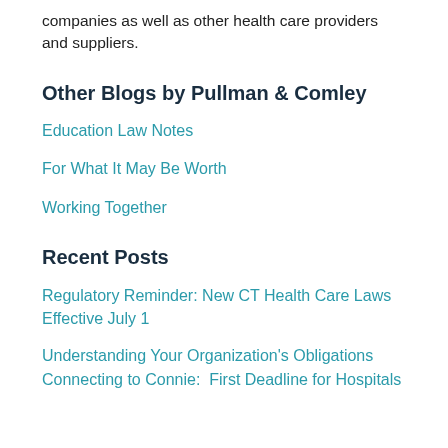companies as well as other health care providers and suppliers.
Other Blogs by Pullman & Comley
Education Law Notes
For What It May Be Worth
Working Together
Recent Posts
Regulatory Reminder: New CT Health Care Laws Effective July 1
Understanding Your Organization's Obligations Connecting to Connie:  First Deadline for Hospitals